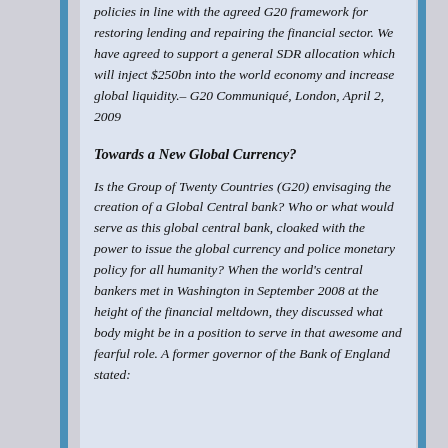policies in line with the agreed G20 framework for restoring lending and repairing the financial sector. We have agreed to support a general SDR allocation which will inject $250bn into the world economy and increase global liquidity.– G20 Communiqué, London, April 2, 2009
Towards a New Global Currency?
Is the Group of Twenty Countries (G20) envisaging the creation of a Global Central bank? Who or what would serve as this global central bank, cloaked with the power to issue the global currency and police monetary policy for all humanity? When the world's central bankers met in Washington in September 2008 at the height of the financial meltdown, they discussed what body might be in a position to serve in that awesome and fearful role. A former governor of the Bank of England stated: